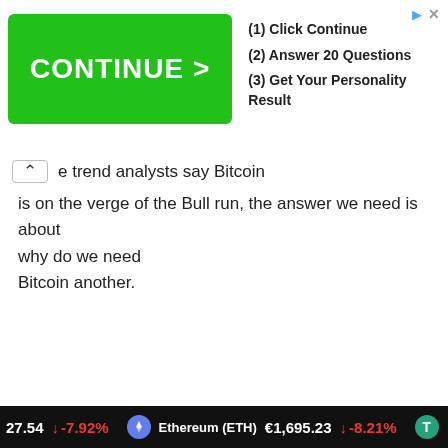[Figure (screenshot): Advertisement banner with green CONTINUE > button and steps: (1) Click Continue, (2) Answer 20 Questions, (3) Get Your Personality Result]
e trend analysts say Bitcoin is on the verge of the Bull run, the answer we need is about why do we need Bitcoin another.
Cookies To make this site work properly, we sometimes place small data files called cookies on your device. Most big websites do this too. Read more →
✔ Accept
Cookies Settings ⚙
27.54 ↓ -7.92%   Ethereum (ETH) €1,695.23 ↓ -8.21%   T